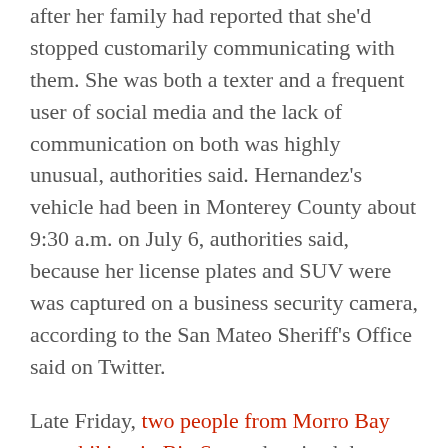after her family had reported that she'd stopped customarily communicating with them. She was both a texter and a frequent user of social media and the lack of communication on both was highly unusual, authorities said. Hernandez's vehicle had been in Monterey County about 9:30 a.m. on July 6, authorities said, because her license plates and SUV were was captured on a business security camera, according to the San Mateo Sheriff's Office said on Twitter.
Late Friday, two people from Morro Bay were hiking in Big Sur and noticed the SUV wreckage at the bottom of a cliff, Thornburg said. Chad and Chelsea Moore went back to their campsite and called 911, he said. Multiple agencies then responded to the remote location and brought Hernandez back up to the roadway. She was transported by ambulance to a